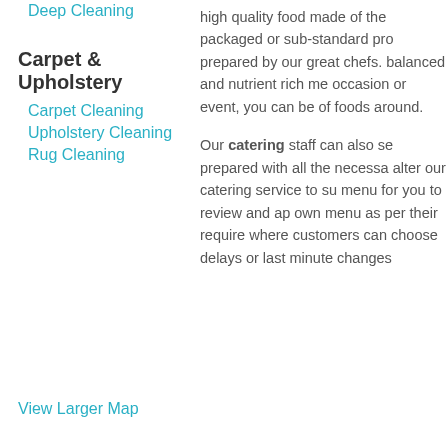Deep Cleaning
Carpet & Upholstery
Carpet Cleaning
Upholstery Cleaning
Rug Cleaning
high quality food made of the packaged or sub-standard pro prepared by our great chefs. balanced and nutrient rich me occasion or event, you can be of foods around.
Our catering staff can also se prepared with all the necessa alter our catering service to su menu for you to review and ap own menu as per their require where customers can choose delays or last minute changes
View Larger Map